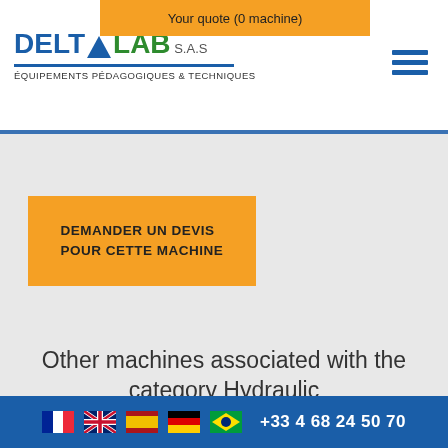Your quote (0 machine)
[Figure (logo): DELTALAB logo with blue triangle, green LAB text, and subtitle ÉQUIPEMENTS PÉDAGOGIQUES & TECHNIQUES]
[Figure (other): Hamburger menu icon (three blue horizontal lines)]
DEMANDER UN DEVIS POUR CETTE MACHINE
Other machines associated with the category Hydraulic
+33 4 68 24 50 70